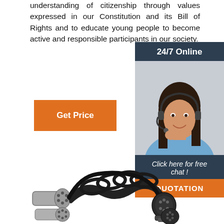understanding of citizenship through values expressed in our Constitution and its Bill of Rights and to educate young people to become active and responsible participants in our society.
[Figure (other): Orange 'Get Price' button]
[Figure (other): Customer service agent sidebar widget with '24/7 Online' header, photo of woman with headset, 'Click here for free chat!' text, and orange 'QUOTATION' button]
[Figure (photo): Product photo: coiled black electrical cable with metal trailer connectors/plugs on both ends]